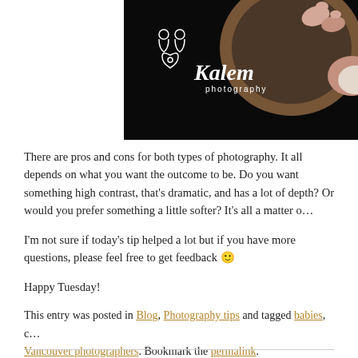[Figure (photo): Newborn baby photograph in a wooden bowl with dark fabric, featuring Kalem Photography logo overlay on a black background]
There are pros and cons for both types of photography. It all depends on what you want the outcome to be. Do you want something high contrast, that's dramatic, and has a lot of depth? Or would you prefer something a little softer? It's all a matter o…
I'm not sure if today's tip helped a lot but if you have more questions, please feel free to get feedback 🙂
Happy Tuesday!
This entry was posted in Blog, Photography tips and tagged babies, c… Vancouver photographers. Bookmark the permalink.